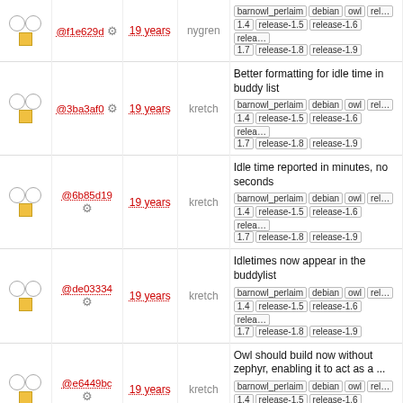| ○ ○ □ | @f1e629d ⚙ | 19 years | nygren | barnowl_perlaim debian owl rele... 1.4 release-1.5 release-1.6 rele... 1.7 release-1.8 release-1.9 |
| ○ ○ □ | @3ba3af0 ⚙ | 19 years | kretch | Better formatting for idle time in buddy list
barnowl_perlaim debian owl rel... 1.4 release-1.5 release-1.6 rele... 1.7 release-1.8 release-1.9 |
| ○ ○ □ | @6b85d19 ⚙ | 19 years | kretch | Idle time reported in minutes, no seconds
barnowl_perlaim debian owl rel... 1.4 release-1.5 release-1.6 rele... 1.7 release-1.8 release-1.9 |
| ○ ○ □ | @de03334 ⚙ | 19 years | kretch | Idletimes now appear in the buddylist
barnowl_perlaim debian owl rel... 1.4 release-1.5 release-1.6 rele... 1.7 release-1.8 release-1.9 |
| ○ ○ □ | @e6449bc ⚙ | 19 years | kretch | Owl should build now without zephyr, enabling it to act as a ...
barnowl_perlaim debian owl rel... 1.4 release-1.5 release-1.6 rele... 1.7 release-1.8 release-1.9 |
| ○ ○ □ | @09489b89 ⚙ | 19 years | kretch | First pass at making owl build without zephyr
barnowl_perlaim debian owl rel... 1.4 release-1.5 release-1.6 rele... 1.7 release-1.8 release-1.9 |
| ○ ○ □ | @e7cc1c3 ⚙ | 19 years | kretch | More detailed usage from -h Special cased replies for webzephyr users ...
barnowl_perlaim debian owl rel... 1.4 release-1.5 release-1.6 rele... 1.7 release-1.8 release-1.9 |